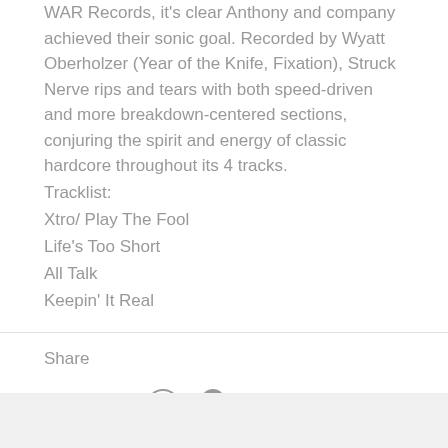WAR Records, it's clear Anthony and company achieved their sonic goal. Recorded by Wyatt Oberholzer (Year of the Knife, Fixation), Struck Nerve rips and tears with both speed-driven and more breakdown-centered sections, conjuring the spirit and energy of classic hardcore throughout its 4 tracks.
Tracklist:
Xtro/ Play The Fool
Life's Too Short
All Talk
Keepin' It Real
Share
[Figure (infographic): Social share icons: Facebook (f), Twitter (bird), Pinterest (P), Fancy (tag), Google+ (G+)]